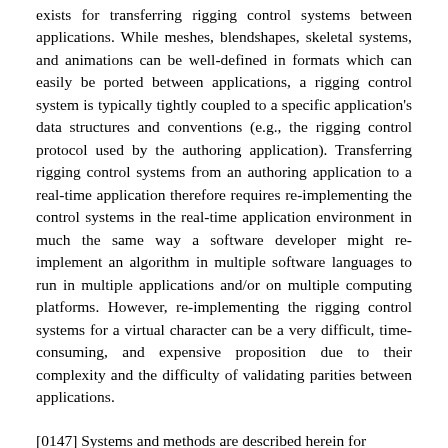exists for transferring rigging control systems between applications. While meshes, blendshapes, skeletal systems, and animations can be well-defined in formats which can easily be ported between applications, a rigging control system is typically tightly coupled to a specific application's data structures and conventions (e.g., the rigging control protocol used by the authoring application). Transferring rigging control systems from an authoring application to a real-time application therefore requires re-implementing the control systems in the real-time application environment in much the same way a software developer might re-implement an algorithm in multiple software languages to run in multiple applications and/or on multiple computing platforms. However, re-implementing the rigging control systems for a virtual character can be a very difficult, time-consuming, and expensive proposition due to their complexity and the difficulty of validating parities between applications.
[0147] Systems and methods are described herein for